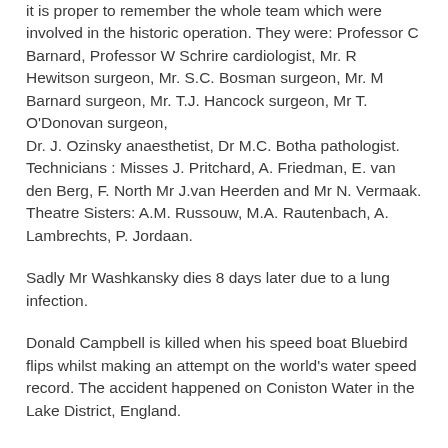it is proper to remember the whole team which were involved in the historic operation. They were: Professor C Barnard, Professor W Schrire cardiologist, Mr. R Hewitson surgeon, Mr. S.C. Bosman surgeon, Mr. M Barnard surgeon, Mr. T.J. Hancock surgeon, Mr T. O'Donovan surgeon, Dr. J. Ozinsky anaesthetist, Dr M.C. Botha pathologist. Technicians : Misses J. Pritchard, A. Friedman, E. van den Berg, F. North Mr J.van Heerden and Mr N. Vermaak. Theatre Sisters: A.M. Russouw, M.A. Rautenbach, A. Lambrechts, P. Jordaan.
Sadly Mr Washkansky dies 8 days later due to a lung infection.
Donald Campbell is killed when his speed boat Bluebird flips whilst making an attempt on the world's water speed record. The accident happened on Coniston Water in the Lake District, England.